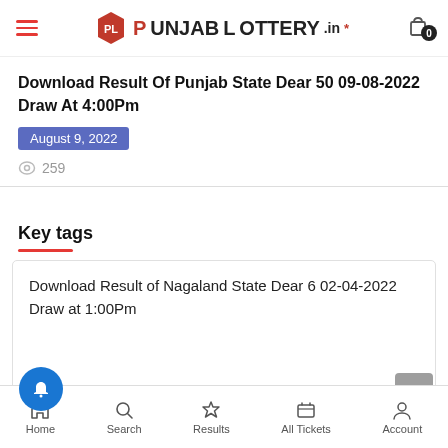PL Punjab Lottery.in
Download Result Of Punjab State Dear 50 09-08-2022 Draw At 4:00Pm
August 9, 2022
259
Key tags
Download Result of Nagaland State Dear 6 02-04-2022 Draw at 1:00Pm
Home  Search  Results  All Tickets  Account